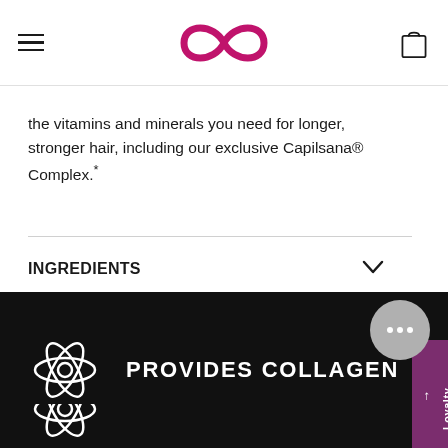Navigation header with hamburger menu, infinity loop logo, and bag icon
the vitamins and minerals you need for longer, stronger hair, including our exclusive Capilsana® Complex.*
INGREDIENTS
HOW TO USE
Loyalty Points
PROVIDES COLLAGEN